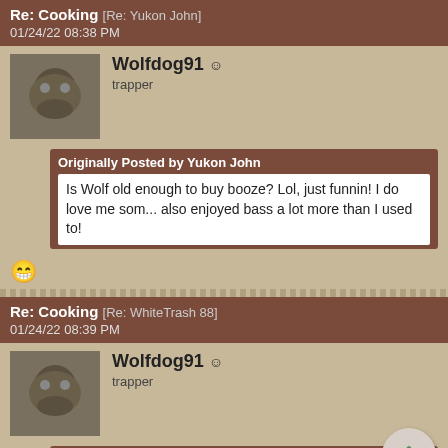Re: Cooking [Re: Yukon John]
01/24/22 08:38 PM
Wolfdog91
trapper
Originally Posted by Yukon John
Is Wolf old enough to buy booze? Lol, just funnin! I do love me som... also enjoyed bass a lot more than I used to!
😁
Re: Cooking [Re: WhiteTrash 88]
01/24/22 08:39 PM
Wolfdog91
trapper
Originally Posted by WhiteTrash 88
Get the hot sauce and some ketchup Wolf; Got to catch some...